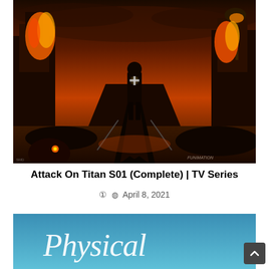[Figure (illustration): Anime artwork showing a cloaked figure standing in front of a burning city with an orange/red dramatic sky. Appears to be from Attack on Titan. FUNIMATION watermark visible in lower right corner.]
Attack On Titan S01 (Complete) | TV Series
April 8, 2021
[Figure (illustration): Partial image showing a blue sky background with cursive white text reading 'Physical' - appears to be a TV show title card.]